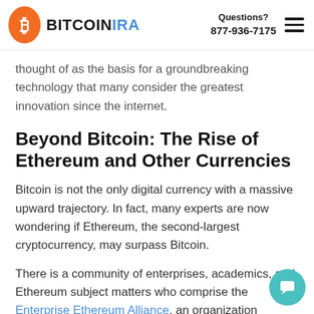BITCOINIRA | Questions? 877-936-7175
thought of as the basis for a groundbreaking technology that many consider the greatest innovation since the internet.
Beyond Bitcoin: The Rise of Ethereum and Other Currencies
Bitcoin is not the only digital currency with a massive upward trajectory. In fact, many experts are now wondering if Ethereum, the second-largest cryptocurrency, may surpass Bitcoin.
There is a community of enterprises, academics, and Ethereum subject matters who comprise the Enterprise Ethereum Alliance, an organization